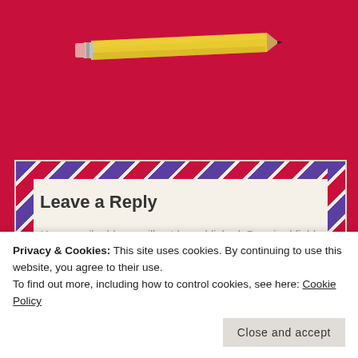[Figure (illustration): A yellow pencil illustration centered on a red background, pointing diagonally from lower-left to upper-right, with a pink eraser on the left end and a dark tip on the right.]
Leave a Reply
Your email address will not be published. Required fields are marked *
Comment *
Privacy & Cookies: This site uses cookies. By continuing to use this website, you agree to their use.
To find out more, including how to control cookies, see here: Cookie Policy
Close and accept